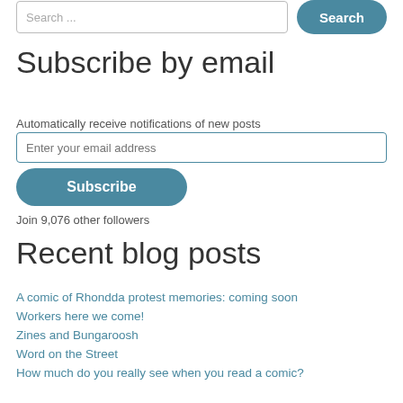Search ...  Search
Subscribe by email
Automatically receive notifications of new posts
Enter your email address
Subscribe
Join 9,076 other followers
Recent blog posts
A comic of Rhondda protest memories: coming soon
Workers here we come!
Zines and Bungaroosh
Word on the Street
How much do you really see when you read a comic?